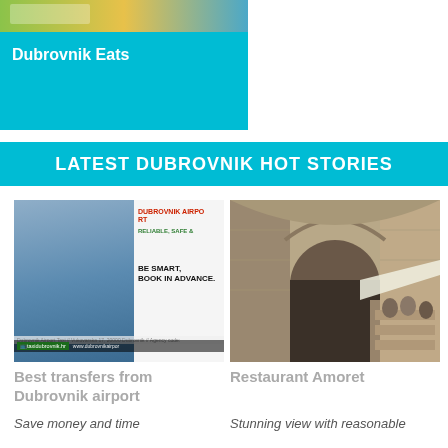[Figure (photo): Cyan banner with food image at top and 'Dubrovnik Eats' text]
LATEST DUBROVNIK HOT STORIES
[Figure (photo): Airport taxi advertisement showing man with text: DUBROVNIK AIRPORT, RELIABLE, SAFE, BE SMART, BOOK IN ADVANCE, taxidubrovnik.hr, www.dubrovnikairport]
[Figure (photo): Stone arched street in Dubrovnik with outdoor restaurant tables]
Best transfers from Dubrovnik airport
Restaurant Amoret
Save money and time
Stunning view with reasonable